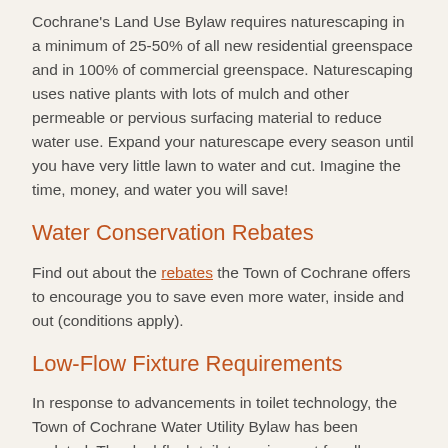Cochrane's Land Use Bylaw requires naturescaping in a minimum of 25-50% of all new residential greenspace and in 100% of commercial greenspace. Naturescaping uses native plants with lots of mulch and other permeable or pervious surfacing material to reduce water use. Expand your naturescape every season until you have very little lawn to water and cut. Imagine the time, money, and water you will save!
Water Conservation Rebates
Find out about the rebates the Town of Cochrane offers to encourage you to save even more water, inside and out (conditions apply).
Low-Flow Fixture Requirements
In response to advancements in toilet technology, the Town of Cochrane Water Utility Bylaw has been updated. The dual-flush toilet requirement for all new residential and non-residential construction has been replaced with the requirement that flush toilets not